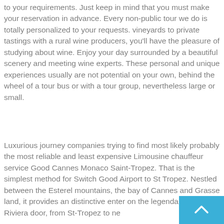to your requirements. Just keep in mind that you must make your reservation in advance. Every non-public tour we do is totally personalized to your requests. vineyards to private tastings with a rural wine producers, you'll have the pleasure of studying about wine. Enjoy your day surrounded by a beautiful scenery and meeting wine experts. These personal and unique experiences usually are not potential on your own, behind the wheel of a tour bus or with a tour group, nevertheless large or small.
Luxurious journey companies trying to find most likely probably the most reliable and least expensive Limousine chauffeur service Good Cannes Monaco Saint-Tropez. That is the simplest method for Switch Good Airport to St Tropez. Nestled between the Esterel mountains, the bay of Cannes and Grasse land, it provides an distinctive enter on the legendary French Riviera door, from St-Tropez to ne